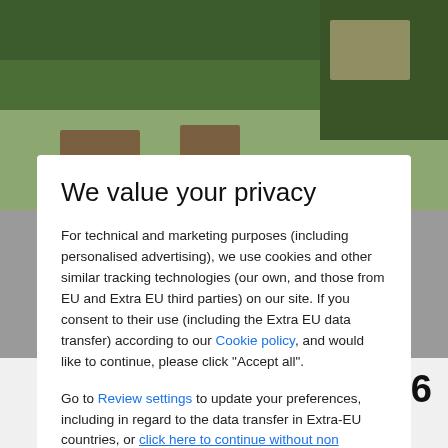[Figure (photo): Garden outdoor seating area with green hedges and wooden furniture, partially visible behind modal overlay]
We value your privacy
For technical and marketing purposes (including personalised advertising), we use cookies and other similar tracking technologies (our own, and those from EU and Extra EU third parties) on our site. If you consent to their use (including the Extra EU data transfer) according to our Cookie policy, and would like to continue, please click "Accept all".
Go to Review settings to update your preferences, including in regard to the data transfer in Extra-EU countries, or click here to continue without non mandatory cookies.
ACCEPT ALL
per night from £86
Estimated on searches in the last month